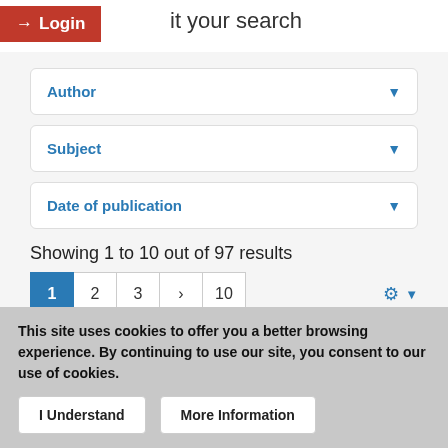Login  it your search
Author
Subject
Date of publication
Showing 1 to 10 out of 97 results
1  2  3  >  10
Text   EEBO-TCP (Phase 1)
This site uses cookies to offer you a better browsing experience. By continuing to use our site, you consent to our use of cookies.
I Understand   More Information